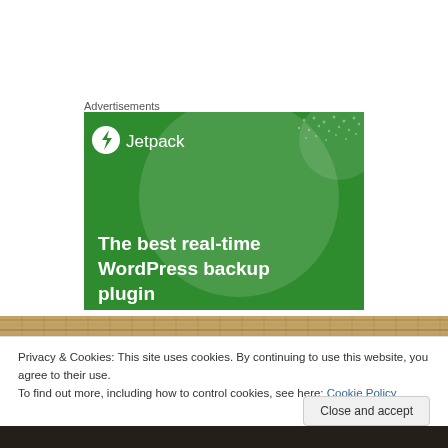Advertisements
[Figure (screenshot): Jetpack advertisement banner on green background with large translucent circle and dot pattern. Shows Jetpack logo and text: 'The best real-time WordPress backup']
[Figure (photo): Wooden plank texture strip]
Privacy & Cookies: This site uses cookies. By continuing to use this website, you agree to their use.
To find out more, including how to control cookies, see here: Cookie Policy
Close and accept